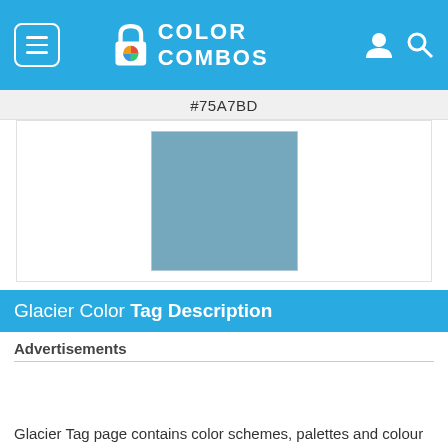COLOR COMBOS
#75A7BD
[Figure (illustration): A square color swatch filled with the color #75A7BD (muted blue-grey)]
Glacier Color Tag Description
Advertisements
Glacier Tag page contains color schemes, palettes and colour combinations with Glacier colors. There are 64 colour combinations with Glacier colors.